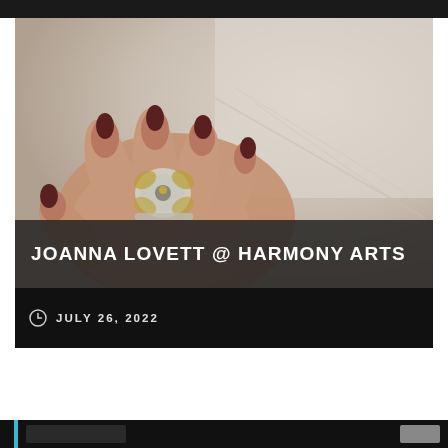[Figure (photo): A hand with dark red manicured nails holding a decorative silver jewelry piece, photographed against a soft beige/grey background. Card overlay shows title text 'JOANNA LOVETT @ HARMONY ARTS' and date 'JULY 26, 2022'.]
JOANNA LOVETT @ HARMONY ARTS
JULY 26, 2022